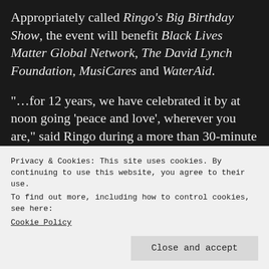Appropriately called Ringo's Big Birthday Show, the event will benefit Black Lives Matter Global Network, The David Lynch Foundation, MusiCares and WaterAid.
"…for 12 years, we have celebrated it by at noon going 'peace and love', wherever you are," said Ringo during a more than 30-minute video interview with Rolling Stone senior writer Brian Hiatt. "We're still doing it, but this year is going to be a little different…there's no big
Privacy & Cookies: This site uses cookies. By continuing to use this website, you agree to their use.
To find out more, including how to control cookies, see here:
Cookie Policy
Close and accept